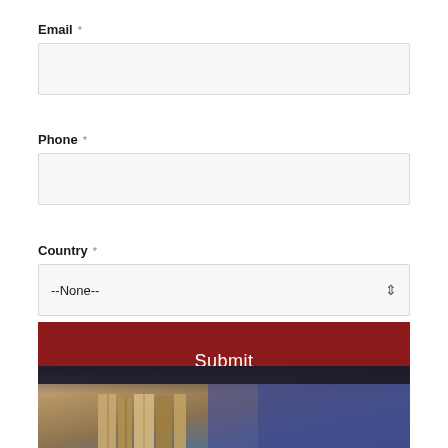Email *
Phone *
Country *
--None--
Submit
[Figure (photo): Partial photo showing what appears to be books or documents being held, with a person wearing a dark (blue/purple) top visible in the background]